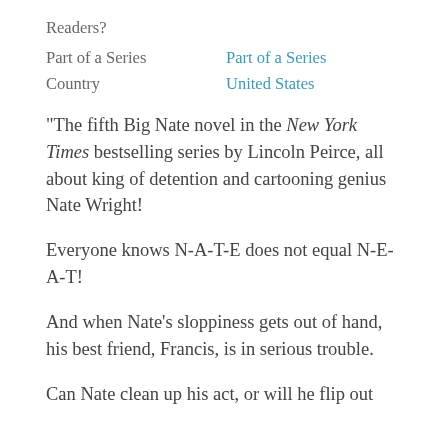Readers?
Part of a Series	Part of a Series
Country	United States
"The fifth Big Nate novel in the New York Times bestselling series by Lincoln Peirce, all about king of detention and cartooning genius Nate Wright!
Everyone knows N-A-T-E does not equal N-E-A-T!
And when Nate's sloppiness gets out of hand, his best friend, Francis, is in serious trouble.
Can Nate clean up his act, or will he flip out